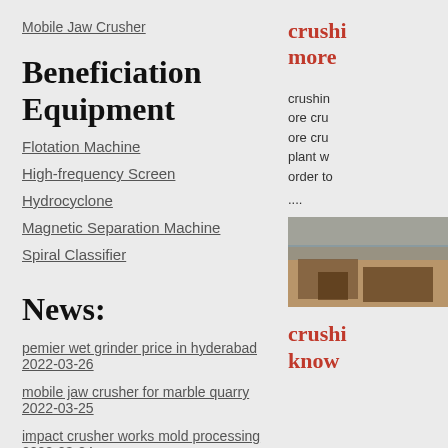Mobile Jaw Crusher
Beneficiation Equipment
Flotation Machine
High-frequency Screen
Hydrocyclone
Magnetic Separation Machine
Spiral Classifier
News:
pemier wet grinder price in hyderabad  2022-03-26
mobile jaw crusher for marble quarry  2022-03-25
impact crusher works mold processing  2022-03-24
crushi more
crushing ore cru ore cru plant w order to ....
[Figure (photo): Photo of machinery/equipment in an industrial or quarry setting]
crushi know